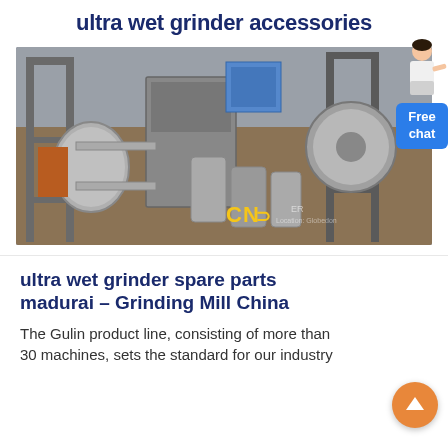ultra wet grinder accessories
[Figure (photo): Industrial grinding mill machinery with cylindrical components, metal framework, and heavy equipment parts. CN logo visible at bottom.]
ultra wet grinder spare parts madurai – Grinding Mill China
The Gulin product line, consisting of more than 30 machines, sets the standard for our industry